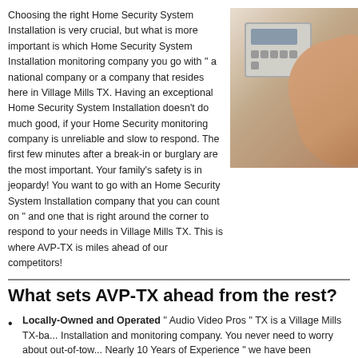Choosing the right Home Security System Installation is very crucial, but what is more important is which Home Security System Installation monitoring company you go with " a national company or a company that resides here in Village Mills TX. Having an exceptional Home Security System Installation doesn’t do much good, if your Home Security monitoring company is unreliable and slow to respond. The first few minutes after a break-in or burglary are the most important. Your family’s safety is in jeopardy! You want to go with an Home Security System Installation company that you can count on " and one that is right around the corner to respond to your needs in Village Mills TX. This is where AVP-TX is miles ahead of our competitors!
[Figure (photo): Person pressing buttons on a home security keypad panel mounted on a wall]
What sets AVP-TX ahead from the rest?
Locally-Owned and Operated " Audio Video Pros " TX is a Village Mills TX-ba... Installation and monitoring company. You never need to worry about out-of-tow... Nearly 10 Years of Experience " we have been providing Village Mills TX home... professional and affordable Home Security System Installations for nearly thre...
Reliability, you can count on! “Your Home Security System Installation will b... installation in the Village Mills TX land area. Plus, our local central monitoring t... for triple redundancy.
Award Winning Service " We have earned countless awards for our succ...